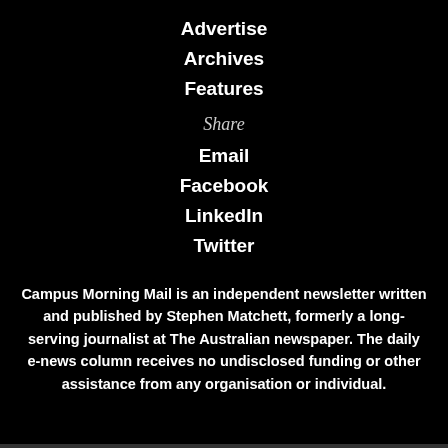Advertise
Archives
Features
Share
Email
Facebook
LinkedIn
Twitter
Campus Morning Mail is an independent newsletter written and published by Stephen Matchett, formerly a long-serving journalist at The Australian newspaper. The daily e-news column receives no undisclosed funding or other assistance from any organisation or individual.